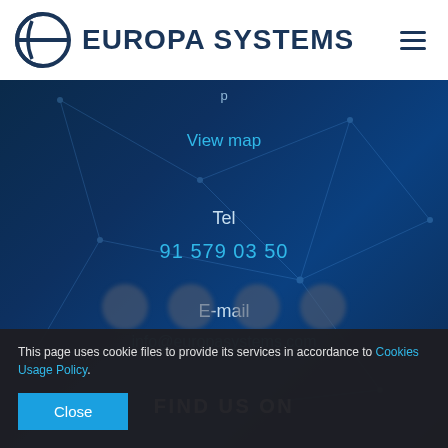[Figure (logo): Europa Systems logo with circular globe-like icon and company name in dark navy blue]
View map
Tel
91 579 03 50
E-mail
info@europasystems.com
FIND US ON
This page uses cookie files to provide its services in accordance to Cookies Usage Policy.
Close